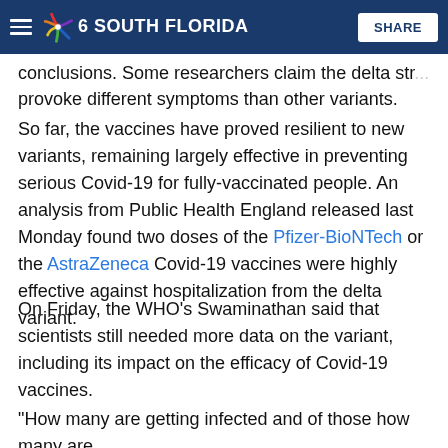NBC 6 South Florida — SHARE
conclusions. Some researchers claim the delta str... provoke different symptoms than other variants.
So far, the vaccines have proved resilient to new variants, remaining largely effective in preventing serious Covid-19 for fully-vaccinated people. An analysis from Public Health England released last Monday found two doses of the Pfizer-BioNTech or the AstraZeneca Covid-19 vaccines were highly effective against hospitalization from the delta variant.
On Friday, the WHO's Swaminathan said that scientists still needed more data on the variant, including its impact on the efficacy of Covid-19 vaccines.
"How many are getting infected and of those how many are